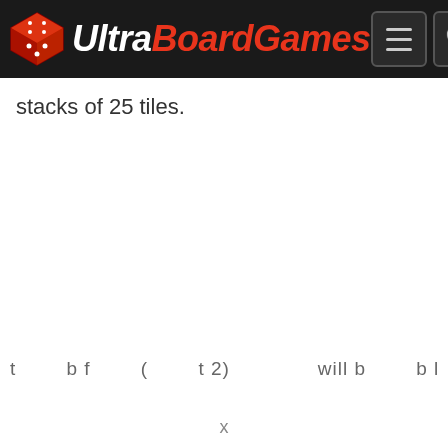UltraBoardGames
stacks of 25 tiles.
t        b f        (        t 2)              will b        b l        i
x